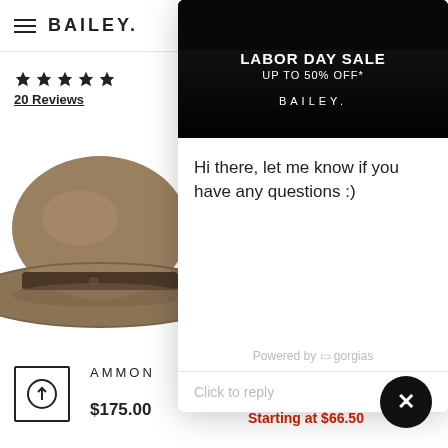BAILEY
20 Reviews
[Figure (photo): Tan/taupe felt fedora hat with dark brown band, product photo on white background]
[Figure (screenshot): Chat widget overlay showing a Labor Day Sale banner (UP TO 50% OFF*) with Bailey branding, and a chat message: 'Hi there, let me know if you have any questions :)', powered by gorgias, with a 'Click to reply' input field]
AMMON
$175.00
RIFF
$133.00
Starting at $66.50